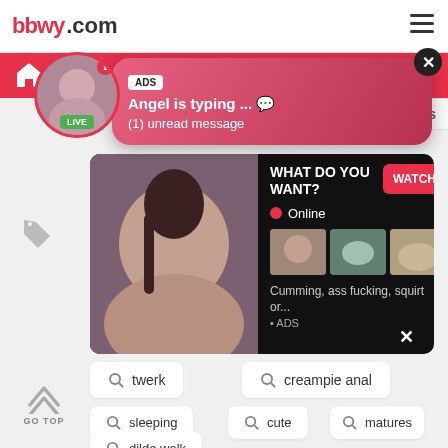bbwy [logo]
[Figure (screenshot): Notification popup with ADS badge, avatar with LIVE badge, text: Angel is typing ... (1) unread message, close button]
[Figure (infographic): Ad banner: WHAT DO YOU WANT? WATCH button, Online indicator, three thumbnail images, text: Cumming, ass fucking, squirt or... ADS]
twerk
creampie anal
sleeping
cute
matures
dildo walk
GO TOP